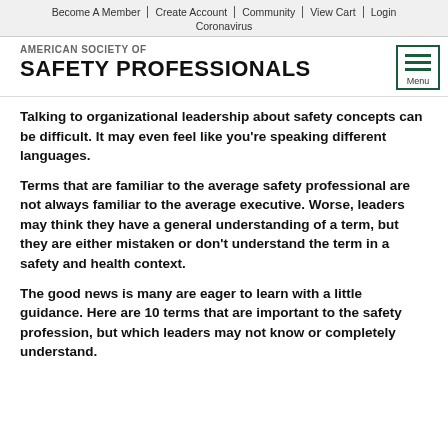Become A Member | Create Account | Community | View Cart | Login | Coronavirus
AMERICAN SOCIETY OF SAFETY PROFESSIONALS
Talking to organizational leadership about safety concepts can be difficult. It may even feel like you're speaking different languages.
Terms that are familiar to the average safety professional are not always familiar to the average executive. Worse, leaders may think they have a general understanding of a term, but they are either mistaken or don't understand the term in a safety and health context.
The good news is many are eager to learn with a little guidance. Here are 10 terms that are important to the safety profession, but which leaders may not know or completely understand.